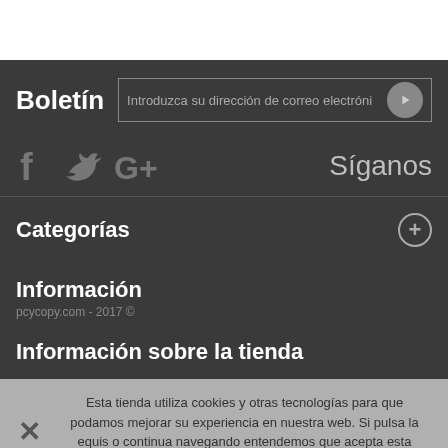Boletín
Introduzca su dirección de correo electróni
[Figure (infographic): Social media icons: Facebook (f), Twitter (bird), Google+]
Síganos
Categorías
Información
pcycopy.com - 2017 ©
Información sobre la tienda
Esta tienda utiliza cookies y otras tecnologías para que podamos mejorar su experiencia en nuestra web. Si pulsa la equis o continua navegando entendemos que acepta esta política.